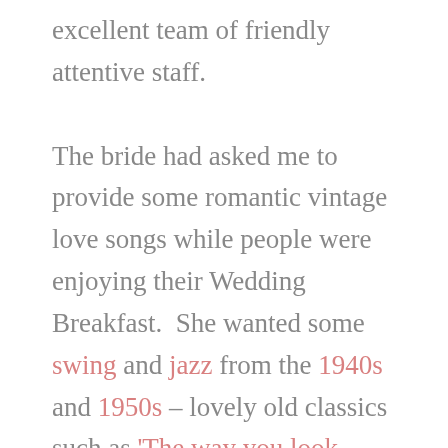excellent team of friendly attentive staff.

The bride had asked me to provide some romantic vintage love songs while people were enjoying their Wedding Breakfast.  She wanted some swing and jazz from the 1940s and 1950s – lovely old classics such as 'The way you look tonight',  plus some more modern 'chilled out' music, including 'Come away with me' by Norah Jones.  This is not a song I've ever done before, but it